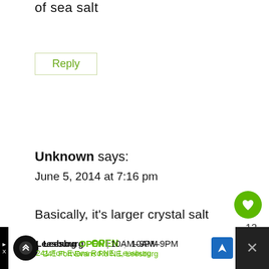of sea salt
Reply
Unknown says:
June 5, 2014 at 7:16 pm
Basically, it's larger crystal salt
Reply
12
WHAT'S NEXT → Crockpot Chicken and...
Leesburg OPEN 10AM–9PM 241 Fort Evans Rd NE, Leesburg